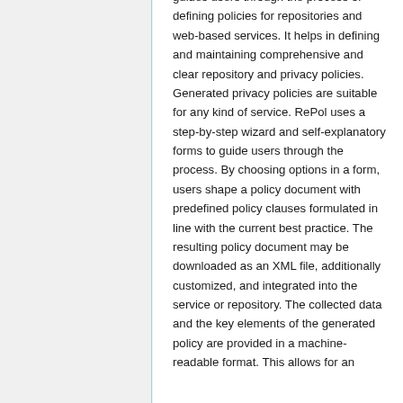guides users through the process of defining policies for repositories and web-based services. It helps in defining and maintaining comprehensive and clear repository and privacy policies. Generated privacy policies are suitable for any kind of service. RePol uses a step-by-step wizard and self-explanatory forms to guide users through the process. By choosing options in a form, users shape a policy document with predefined policy clauses formulated in line with the current best practice. The resulting policy document may be downloaded as an XML file, additionally customized, and integrated into the service or repository. The collected data and the key elements of the generated policy are provided in a machine-readable format. This allows for an